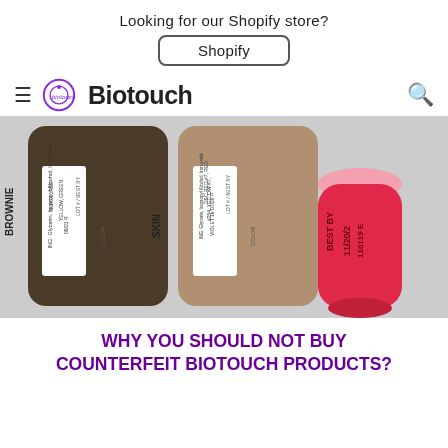Looking for our Shopify store?
Shopify
[Figure (logo): Biotouch brand logo with circular icon and bold sans-serif wordmark]
[Figure (photo): Three Biotouch permanent makeup pigment bottles: dark brown labeled BROWNIE with BLACK, RED, YELLOW, GREEN ingredients expiry 06/21 R; tan bottle labeled SKIN with D&C RED #7, RED #254, YELLOW #7, VIOLET 1e ingredients expiry 07/20 P; pink/red squeeze bottle with BEST BY 11/20/2 110119 E stamp]
WHY YOU SHOULD NOT BUY COUNTERFEIT BIOTOUCH PRODUCTS?